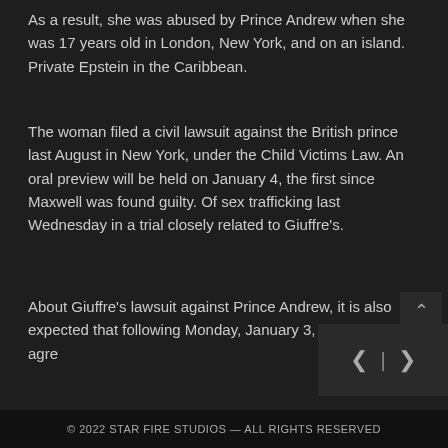As a result, she was abused by Prince Andrew when she was 17 years old in London, New York, and on an island. Private Epstein in the Caribbean.
The woman filed a civil lawsuit against the British prince last August in New York, under the Child Victims Law. An oral preview will be held on January 4, the first since Maxwell was found guilty. Of sex trafficking last Wednesday in a trial closely related to Giuffre's.
About Giuffre's lawsuit against Prince Andrew, it is also expected that following Monday, January 3, an out-of-court agre
© 2022 STAR FIRE STUDIOS — ALL RIGHTS RESERVED